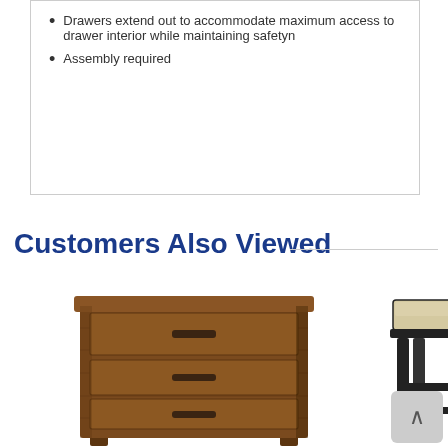Drawers extend out to accommodate maximum access to drawer interior while maintaining safetyn
Assembly required
Customers Also Viewed
[Figure (photo): Wooden three-drawer nightstand with dark handles in a rustic brown finish]
[Figure (photo): Black metal bench with upholstered light-colored seat top]